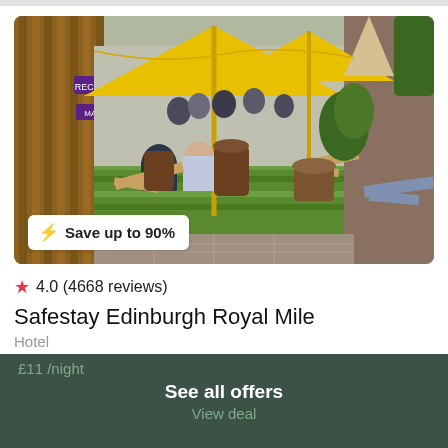[Figure (photo): Outdoor beer garden/courtyard of Safestay Edinburgh Royal Mile hostel, with people sitting on deck chairs and barrel tables on artificial grass, yellow umbrellas overhead, wooden slatted walls, and string lights.]
⚡ Save up to 90%
★ 4.0 (4668 reviews)
Safestay Edinburgh Royal Mile
Hotel
£11 /night
See all offers
View deal